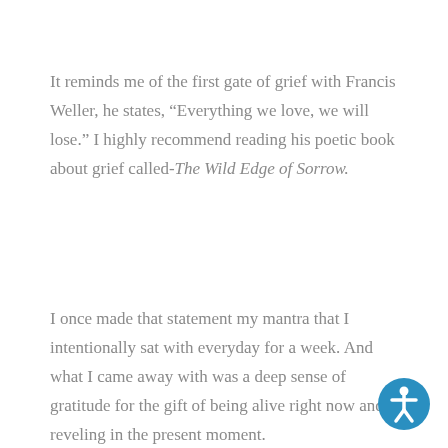It reminds me of the first gate of grief with Francis Weller, he states, “Everything we love, we will lose.” I highly recommend reading his poetic book about grief called-The Wild Edge of Sorrow.
I once made that statement my mantra that I intentionally sat with everyday for a week. And what I came away with was a deep sense of gratitude for the gift of being alive right now and reveling in the present moment.
[Figure (illustration): Accessibility icon: a circular blue button with a white human figure (person with arms and legs extended) symbol, representing accessibility or assistive technology.]